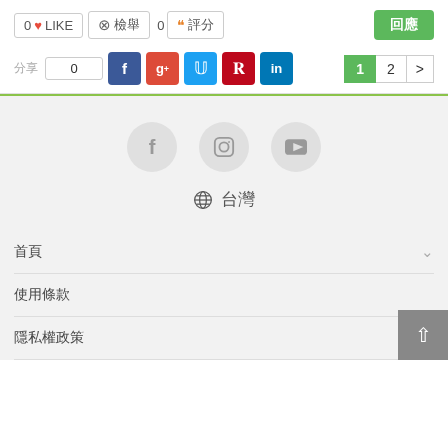0 LIKE  ⊖ 檢舉  0 66 評分  回應
分享 0 [Facebook][G+][Twitter][Pinterest][LinkedIn]  1 2 >
[Figure (screenshot): Footer section with social media icons (Facebook, Instagram, YouTube), globe icon with 台灣 text, and footer menu items 首頁, 使用條款, 隱私權政策]
⊕ 台灣
首頁
使用條款
隱私權政策